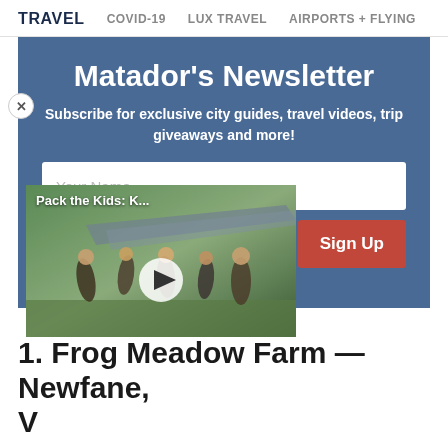TRAVEL   COVID-19   LUX TRAVEL   AIRPORTS + FLYING
Matador's Newsletter
Subscribe for exclusive city guides, travel videos, trip giveaways and more!
[Figure (screenshot): Newsletter signup form with Your Name field, email field, and Sign Up button on blue background. Close button on left. Overlay video thumbnail showing Pack the Kids: K... with a family jumping in front of a plane, with play button.]
he Terms and Privacy Policy.
1. Frog Meadow Farm — Newfane, V...